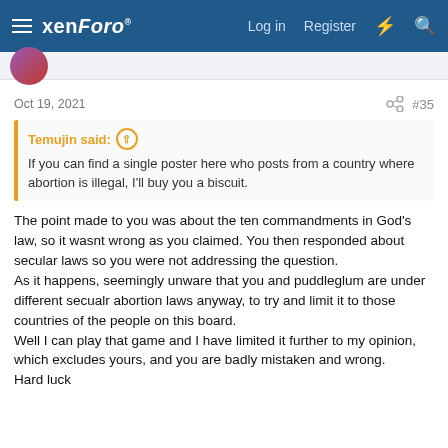xenForo  Log in  Register
Oct 19, 2021  #35
Temujin said:
If you can find a single poster here who posts from a country where abortion is illegal, I'll buy you a biscuit.
The point made to you was about the ten commandments in God's law, so it wasnt wrong as you claimed. You then responded about secular laws so you were not addressing the question.
As it happens, seemingly unware that you and puddleglum are under different secualr abortion laws anyway, to try and limit it to those countries of the people on this board.
Well I can play that game and I have limited it further to my opinion, which excludes yours, and you are badly mistaken and wrong.
Hard luck